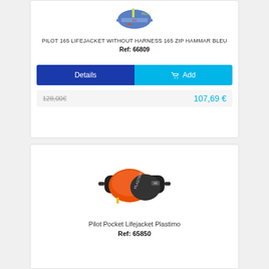[Figure (photo): Blue inflatable lifejacket/belt pack product photo]
PILOT 165 LIFEJACKET WITHOUT HARNESS 165 ZIP HAMMAR BLEU
Ref: 66809
Details
Add
128,00€   107,69 €
[Figure (photo): Orange and black inflatable pocket lifejacket bumbag product photo]
Pilot Pocket Lifejacket Plastimo
Ref: 65850